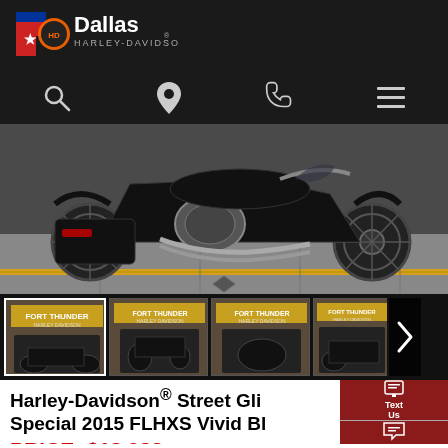[Figure (logo): Dallas Harley-Davidson logo with Texas state shape in red/blue/white with star, and text 'Dallas HARLEY-DAVIDSON']
[Figure (other): Navigation icon bar with search (magnifying glass), location pin, phone, and hamburger menu icons on dark background]
[Figure (photo): Black Harley-Davidson Street Glide Special motorcycle parked on a tiled floor, side profile view showing chrome engine, black saddlebags, and spoke wheels]
[Figure (photo): Thumbnail strip showing four small images of the same black motorcycle from different angles, each with 'Fort Thunder Harley-Davidson' signage visible, with a right-arrow navigation button]
Harley-Davidson® Street Glide Special 2015 FLHXS Vivid Black
PRICE: $18,983
[Figure (other): Text Us button (dark red, mobile phone icon)]
[Figure (other): Chat with Us button (dark red, chat bubble icon)]